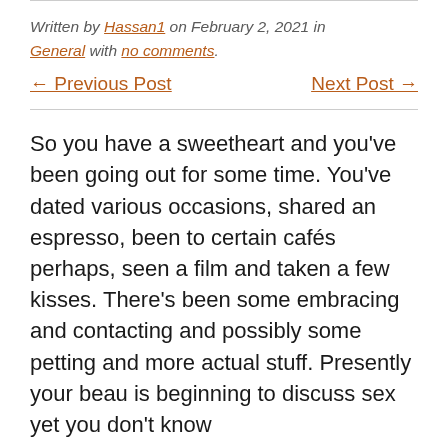Written by Hassan1 on February 2, 2021 in General with no comments.
← Previous Post    Next Post →
So you have a sweetheart and you've been going out for some time. You've dated various occasions, shared an espresso, been to certain cafés perhaps, seen a film and taken a few kisses. There's been some embracing and contacting and possibly some petting and more actual stuff. Presently your beau is beginning to discuss sex yet you don't know